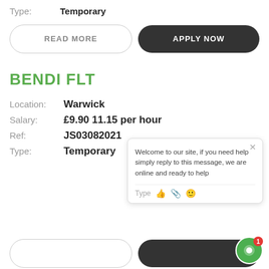Type: Temporary
READ MORE
APPLY NOW
BENDI FLT
Location: Warwick
Salary: £9.90 11.15 per hour
Ref: JS03082021
Type: Temporary
Welcome to our site, if you need help simply reply to this message, we are online and ready to help